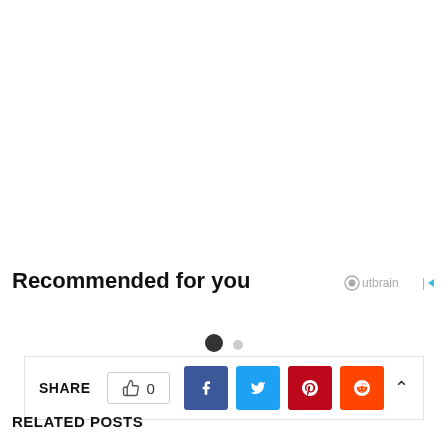[Figure (screenshot): Social share bar with SHARE label, like button showing 0, and social media buttons for Facebook, Twitter, Pinterest, and Reddit]
Recommended for you
[Figure (other): Outbrain logo]
[Figure (other): Carousel dots: one large filled dot and one small empty dot]
RELATED POSTS